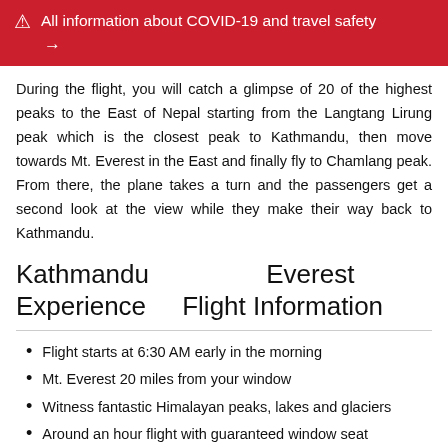All information about COVID-19 and travel safety →
During the flight, you will catch a glimpse of 20 of the highest peaks to the East of Nepal starting from the Langtang Lirung peak which is the closest peak to Kathmandu, then move towards Mt. Everest in the East and finally fly to Chamlang peak. From there, the plane takes a turn and the passengers get a second look at the view while they make their way back to Kathmandu.
Kathmandu Everest Experience Flight Information
Flight starts at 6:30 AM early in the morning
Mt. Everest 20 miles from your window
Witness fantastic Himalayan peaks, lakes and glaciers
Around an hour flight with guaranteed window seat